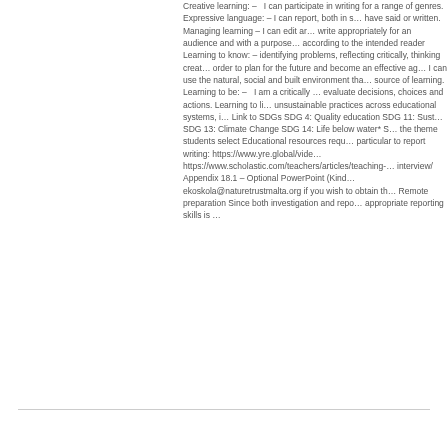Creative learning: – I can participate in writing for a range of genres. Expressive language: – I can report, both in speech what others have said or written. Managing learning – I can edit and revise my writing, write appropriately for an audience and with a purpose, adjust my writing according to the intended reader Learning to know: – I am capable of identifying problems, reflecting critically, thinking creatively and acting in order to plan for the future and become an effective agent of change. – I can use the natural, social and built environment that surrounds me as a source of learning. Learning to be: – I am a critically ... I am able to evaluate decisions, choices and actions. Learning to live together: I address unsustainable practices across educational systems, in my community ... Link to SDGs SDG 4: Quality education SDG 11: Sustainable cities* SDG 13: Climate Change SDG 14: Life below water* SDGs link to the theme students select Educational resources required particular to report writing: https://www.yre.global/vide... https://www.scholastic.com/teachers/articles/teaching-... interview/ Appendix 18.1 – Optional PowerPoint (Kind... ekoskola@naturetrustmalta.org if you wish to obtain th... Remote preparation Since both investigation and repo... appropriate reporting skills is ...